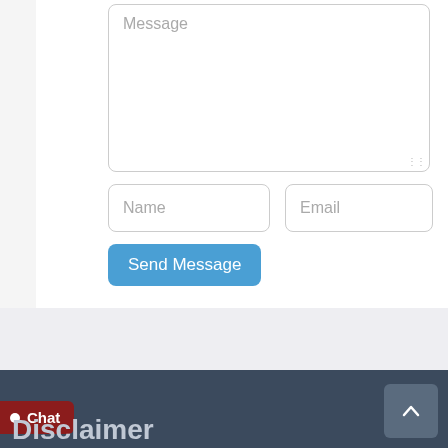[Figure (screenshot): A web contact form showing a Message textarea, Name and Email input fields, and a Send Message button. Below the form is a gray section followed by a dark blue-gray footer with a Chat button, an up-arrow button, and a Disclaimer heading.]